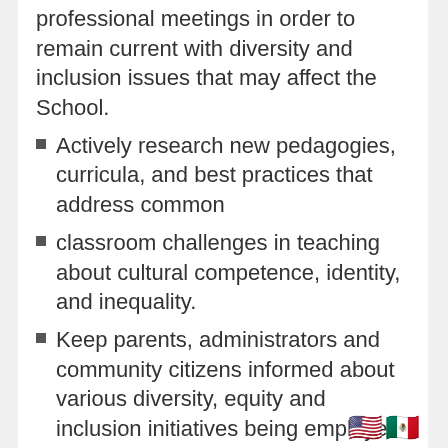professional meetings in order to remain current with diversity and inclusion issues that may affect the School.
Actively research new pedagogies, curricula, and best practices that address common
classroom challenges in teaching about cultural competence, identity, and inequality.
Keep parents, administrators and community citizens informed about various diversity, equity and inclusion initiatives being employed to resolve educational issues.
Maintain relationships with diversity